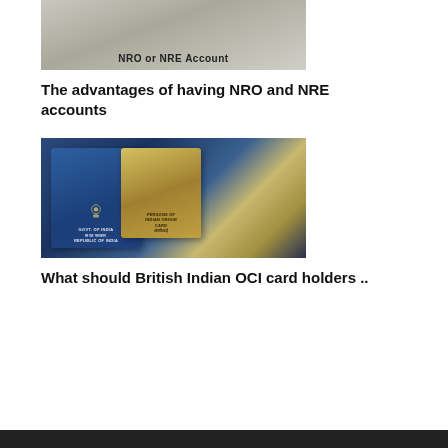[Figure (photo): Hands signing documents with text overlay 'NRO or NRE Account']
The advantages of having NRO and NRE accounts
[Figure (photo): Blue Indian OCI overseas citizen card and gold Person of Indian Origin card]
What should British Indian OCI card holders ..